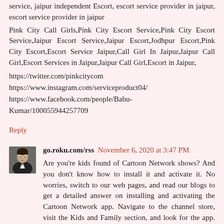service, jaipur independent Escort, escort service provider in jaipur, escort service provider in jaipur
Pink City Call Girls,Pink City Escort Service,Pink City Escort Service,Jaipur Escort Service,Jaipur Escort,Jodhpur Escort,Pink City Escort,Escort Service Jaipur,Call Girl In Jaipur,Jaipur Call Girl,Escort Services in Jaipur,Jaipur Call Girl,Escort in Jaipur,
https://twitter.com/pinkcitycom
https://www.instagram.com/serviceproduct04/
https://www.facebook.com/people/Babu-Kumar/100055944257709
Reply
go.roku.com/rss  November 6, 2020 at 3:47 PM
Are you're kids found of Cartoon Network shows? And you don't know how to install it and activate it. No worries, switch to our web pages, and read our blogs to get a detailed answer on installing and activating the Cartoon Network app. Navigate to the channel store, visit the Kids and Family section, and look for the app. Choose it, add it to the added channel list and reach the cartoonnetwork.com/activate activation page. Input the channel link code and choose the pay TV provider and start with the